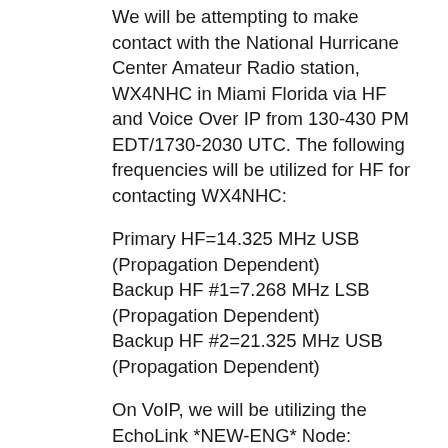We will be attempting to make contact with the National Hurricane Center Amateur Radio station, WX4NHC in Miami Florida via HF and Voice Over IP from 130-430 PM EDT/1730-2030 UTC. The following frequencies will be utilized for HF for contacting WX4NHC:
Primary HF=14.325 MHz USB (Propagation Dependent)
Backup HF #1=7.268 MHz LSB (Propagation Dependent)
Backup HF #2=21.325 MHz USB (Propagation Dependent)
On VoIP, we will be utilizing the EchoLink *NEW-ENG* Node: 9123/IRLP 9123 or the New England Network/Reflector system.
Below is the generic press release posted to the SKYWARN email list several weeks ago: